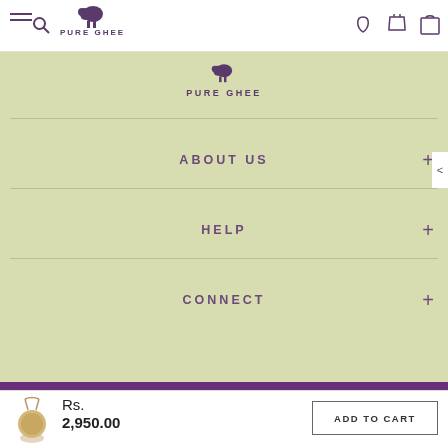PURE GHEE
[Figure (logo): Pure Ghee brand logo with sheep icon and text PURE GHEE in green section]
ABOUT US +
HELP +
CONNECT +
Copyright © 2022, Pure Ghee Designs.
↑ TOP
Rs. 2,950.00
ADD TO CART